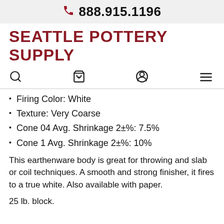888.915.1196
SEATTLE POTTERY SUPPLY
Firing Color: White
Texture: Very Coarse
Cone 04 Avg. Shrinkage 2±%: 7.5%
Cone 1 Avg. Shrinkage 2±%: 10%
This earthenware body is great for throwing and slab or coil techniques. A smooth and strong finisher, it fires to a true white. Also available with paper.
25 lb. block.